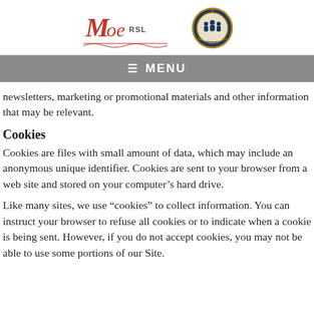[Figure (logo): Moe RSL logo (stylized script 'Moe' with 'RSL' text and decorative line) and a circular badge/crest logo side by side]
≡ MENU
newsletters, marketing or promotional materials and other information that may be relevant.
Cookies
Cookies are files with small amount of data, which may include an anonymous unique identifier. Cookies are sent to your browser from a web site and stored on your computer's hard drive.
Like many sites, we use “cookies” to collect information. You can instruct your browser to refuse all cookies or to indicate when a cookie is being sent. However, if you do not accept cookies, you may not be able to use some portions of our Site.